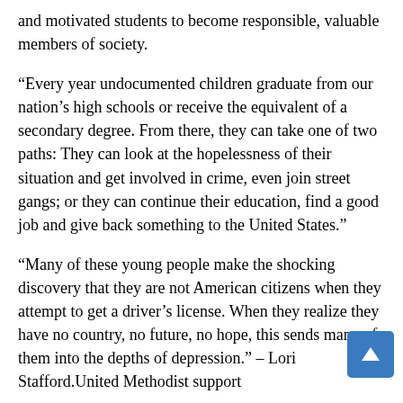and motivated students to become responsible, valuable members of society.
“Every year undocumented children graduate from our nation’s high schools or receive the equivalent of a secondary degree. From there, they can take one of two paths: They can look at the hopelessness of their situation and get involved in crime, even join street gangs; or they can continue their education, find a good job and give back something to the United States.”
“Many of these young people make the shocking discovery that they are not American citizens when they attempt to get a driver’s license. When they realize they have no country, no future, no hope, this sends many of them into the depths of depression.” – Lori Stafford.United Methodist support
Amador and Campos are two of the “dreamers” Jeanne Roe Smith works with in IDEAS@UCLA, a student organization made up of DREAM supporters. Smith is United Methodist campus minister at the Wesley Foundation at UCLA.